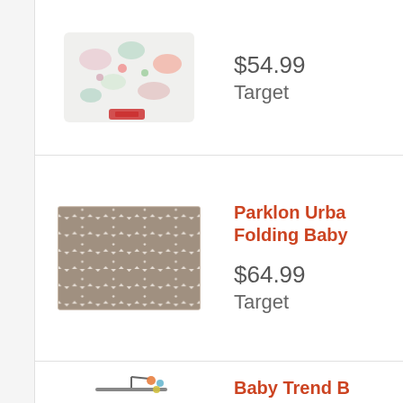[Figure (photo): Baby product image (partially cropped at top) with floral/colorful print pattern]
$54.99
Target
[Figure (photo): Parklon Urban folding baby mat with grey and white chevron/zigzag pattern]
Parklon Urban Folding Baby...
$64.99
Target
[Figure (photo): Baby Trend Nursery Center - a baby playard/bassinet in light blue and grey]
Baby Trend B... Nursery Cen...
$89.99
Target